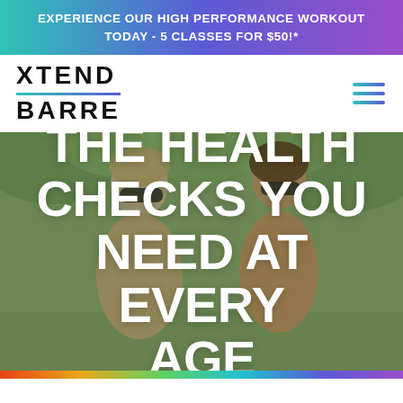EXPERIENCE OUR HIGH PERFORMANCE WORKOUT TODAY - 5 CLASSES FOR $50!*
[Figure (logo): Xtend Barre logo with teal-to-purple underline and hamburger menu icon]
[Figure (photo): Two women wearing sunglasses smiling outdoors with green foliage background]
THE HEALTH CHECKS YOU NEED AT EVERY AGE